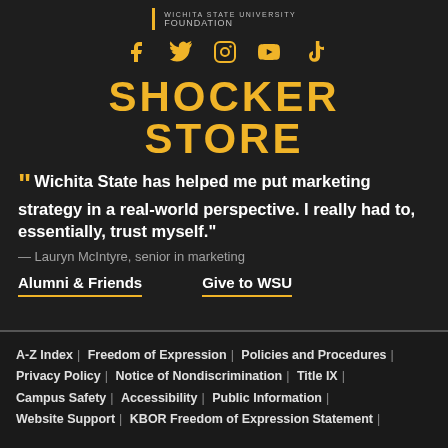[Figure (logo): Wichita State University Foundation logo with vertical gold bar and text]
[Figure (infographic): Row of social media icons in gold: Facebook, Twitter, Instagram, YouTube, TikTok]
SHOCKER STORE
“ Wichita State has helped me put marketing strategy in a real-world perspective. I really had to, essentially, trust myself."
— Lauryn McIntyre, senior in marketing
Alumni & Friends
Give to WSU
A-Z Index | Freedom of Expression | Policies and Procedures | Privacy Policy | Notice of Nondiscrimination | Title IX | Campus Safety | Accessibility | Public Information | Website Support | KBOR Freedom of Expression Statement |